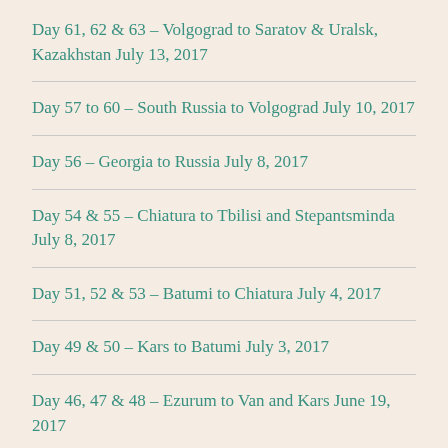Day 61, 62 & 63 – Volgograd to Saratov & Uralsk, Kazakhstan July 13, 2017
Day 57 to 60 – South Russia to Volgograd July 10, 2017
Day 56 – Georgia to Russia July 8, 2017
Day 54 & 55 – Chiatura to Tbilisi and Stepantsminda July 8, 2017
Day 51, 52 & 53 – Batumi to Chiatura July 4, 2017
Day 49 & 50 – Kars to Batumi July 3, 2017
Day 46, 47 & 48 – Ezurum to Van and Kars June 19, 2017